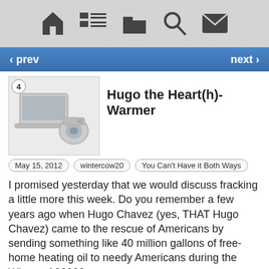Navigation bar with home, list, folder, search, mail icons
‹ prev   next ›
[Figure (illustration): Thumbnail image of cameras/electronics with badge number 4]
Hugo the Heart(h)-Warmer
May 15, 2012   wintercow20   You Can't Have it Both Ways
I promised yesterday that we would discuss fracking a little more this week. Do you remember a few years ago when Hugo Chavez (yes, THAT Hugo Chavez) came to the rescue of Americans by sending something like 40 million gallons of free-home heating oil to needy Americans during the Winter of 2008?
The United States has its own program of course. It is called the Low-Income Energy Assistance Program. The program began in 1981 and was approved by President Reagan (I know, yet another one of those government-choking, poor trampling austerity, deregulatory measures he hammered the Americans with) – and now is about a $5 billion block grant program from the federal government to the states (UPDATE: I am pretty sure he signed on for this as some sort of compromise to cut the budget elsewhere). The states